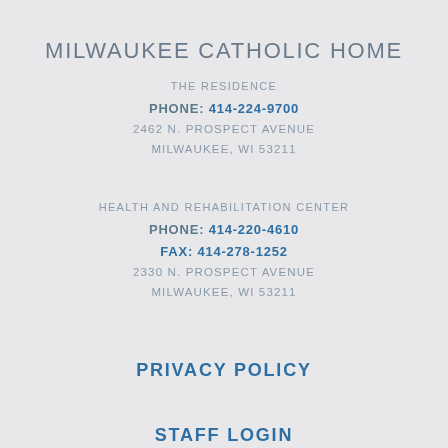MILWAUKEE CATHOLIC HOME
THE RESIDENCE
PHONE: 414-224-9700
2462 N. PROSPECT AVENUE
MILWAUKEE, WI 53211
HEALTH AND REHABILITATION CENTER
PHONE: 414-220-4610
FAX: 414-278-1252
2330 N. PROSPECT AVENUE
MILWAUKEE, WI 53211
PRIVACY POLICY
STAFF LOGIN